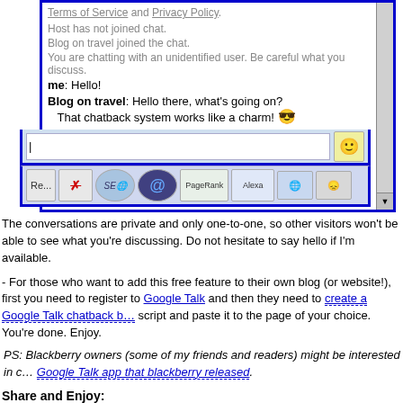[Figure (screenshot): A Google Talk chatback chat widget screenshot showing a conversation. System messages: 'Terms of Service and Privacy Policy.', 'Host has not joined chat.', 'Blog on travel joined the chat.', 'You are chatting with an unidentified user. Be careful what you discuss.' Then chat messages: 'me: Hello!', 'Blog on travel: Hello there, what’s going on? That chatback system works like a charm! [sunglasses emoji]', 'me: True!'. Below the chat area is an input box with a smiley emoji button, and a toolbar with buttons: Re..., X, SEO (circular), @ (circular), PageRank, Alexa, and two icon buttons.]
The conversations are private and only one-to-one, so other visitors won’t be able to see what you’re discussing. Do not hesitate to say hello if I’m available.
- For those who want to add this free feature to their own blog (or website!), first you need to register to Google Talk and then they need to create a Google Talk chatback badge, copy the script and paste it to the page of your choice. You’re done. Enjoy.
PS: Blackberry owners (some of my friends and readers) might be interested in checking the Google Talk app that blackberry released.
Share and Enjoy:
Comments : 3 Comments »
Categories : Blogs, Google, Google related